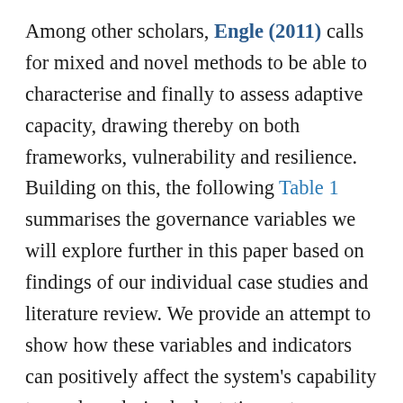Among other scholars, Engle (2011) calls for mixed and novel methods to be able to characterise and finally to assess adaptive capacity, drawing thereby on both frameworks, vulnerability and resilience. Building on this, the following Table 1 summarises the governance variables we will explore further in this paper based on findings of our individual case studies and literature review. We provide an attempt to show how these variables and indicators can positively affect the system's capability to produce desired adaptation outcomes, e.g. the ability to produce or maintain forest goods and services as a base for livelihoods in the case study sites. Table 1 indicates also which methods and analyses have been used to investigate these variables